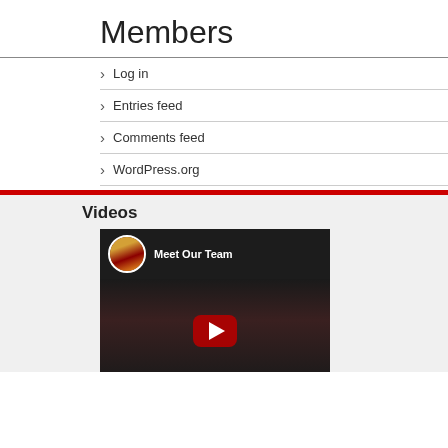Members
Log in
Entries feed
Comments feed
WordPress.org
Videos
[Figure (screenshot): YouTube video thumbnail showing 'Meet Our Team' with a person's avatar and YouTube play button overlay]